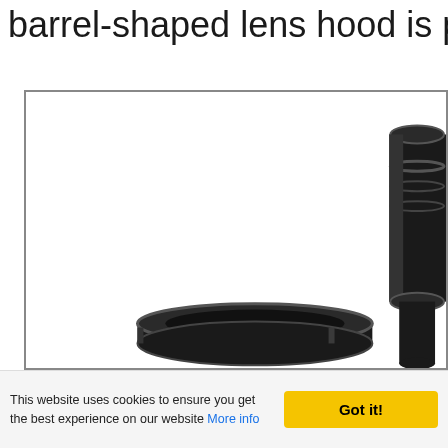barrel-shaped lens hood is pa
[Figure (photo): Product photo showing two black barrel-shaped lens hoods against a white background. One is partially visible at the bottom center-left, and another is visible at the right edge. The image is framed with a thin border.]
This website uses cookies to ensure you get the best experience on our website More info
Got it!